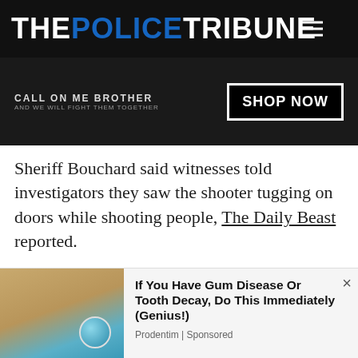THE POLICE TRIBUNE
[Figure (photo): Advertisement banner with dark background showing 'CALL ON ME BROTHER AND WE WILL FIGHT THEM TOGETHER' text and a 'SHOP NOW' button]
Sheriff Bouchard said witnesses told investigators they saw the shooter tugging on doors while shooting people, The Daily Beast reported.
“We know from visible evidence he shot through doors,” Sheriff Bouchard added.
[Figure (photo): Advertisement: If You Have Gum Disease Or Tooth Decay, Do This Immediately (Genius!) - Prodentim | Sponsored]